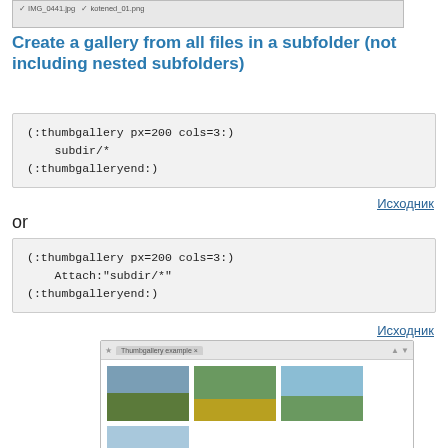[Figure (screenshot): Partial screenshot of a file browser showing image files]
Create a gallery from all files in a subfolder (not including nested subfolders)
(:thumbgallery px=200 cols=3:)
    subdir/*
(:thumbgalleryend:)
Исходник
or
(:thumbgallery px=200 cols=3:)
    Attach:"subdir/*"
(:thumbgalleryend:)
Исходник
[Figure (screenshot): Browser window showing a thumbgallery example with 4 landscape thumbnail images arranged in a grid]